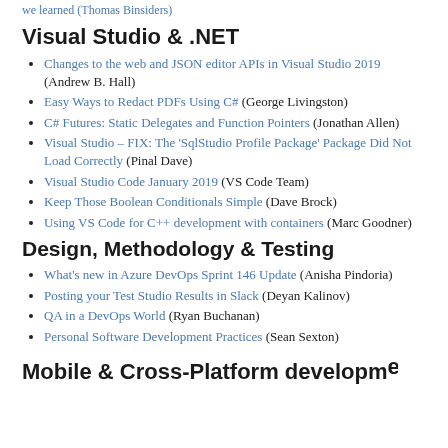we learned (Thomas Binsiders)
Visual Studio & .NET
Changes to the web and JSON editor APIs in Visual Studio 2019 (Andrew B. Hall)
Easy Ways to Redact PDFs Using C# (George Livingston)
C# Futures: Static Delegates and Function Pointers (Jonathan Allen)
Visual Studio – FIX: The 'SqlStudio Profile Package' Package Did Not Load Correctly (Pinal Dave)
Visual Studio Code January 2019 (VS Code Team)
Keep Those Boolean Conditionals Simple (Dave Brock)
Using VS Code for C++ development with containers (Marc Goodner)
Design, Methodology & Testing
What's new in Azure DevOps Sprint 146 Update (Anisha Pindoria)
Posting your Test Studio Results in Slack (Deyan Kalinov)
QA in a DevOps World (Ryan Buchanan)
Personal Software Development Practices (Sean Sexton)
Mobile & Cross-Platform development